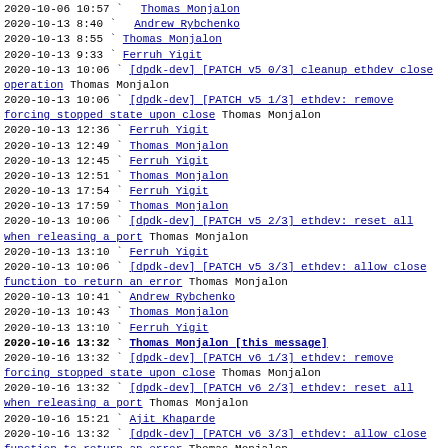2020-10-06 10:57  ` Thomas Monjalon
2020-10-13  8:40  ` Andrew Rybchenko
2020-10-13  8:55    ` Thomas Monjalon
2020-10-13  9:33    ` Ferruh Yigit
2020-10-13 10:06  ` [dpdk-dev] [PATCH v5 0/3] cleanup ethdev close operation Thomas Monjalon
2020-10-13 10:06  ` [dpdk-dev] [PATCH v5 1/3] ethdev: remove forcing stopped state upon close Thomas Monjalon
2020-10-13 12:36    ` Ferruh Yigit
2020-10-13 12:49      ` Thomas Monjalon
2020-10-13 12:45    ` Ferruh Yigit
2020-10-13 12:51      ` Thomas Monjalon
2020-10-13 17:54    ` Ferruh Yigit
2020-10-13 17:59      ` Thomas Monjalon
2020-10-13 10:06  ` [dpdk-dev] [PATCH v5 2/3] ethdev: reset all when releasing a port Thomas Monjalon
2020-10-13 13:10    ` Ferruh Yigit
2020-10-13 10:06  ` [dpdk-dev] [PATCH v5 3/3] ethdev: allow close function to return an error Thomas Monjalon
2020-10-13 10:41    ` Andrew Rybchenko
2020-10-13 10:43      ` Thomas Monjalon
2020-10-13 13:10    ` Ferruh Yigit
2020-10-16 13:32  ` Thomas Monjalon [this message]
2020-10-16 13:32  ` [dpdk-dev] [PATCH v6 1/3] ethdev: remove forcing stopped state upon close Thomas Monjalon
2020-10-16 13:32  ` [dpdk-dev] [PATCH v6 2/3] ethdev: reset all when releasing a port Thomas Monjalon
2020-10-16 15:21    ` Ajit Khaparde
2020-10-16 13:32  ` [dpdk-dev] [PATCH v6 3/3] ethdev: allow close function to return an error Thomas Monjalon